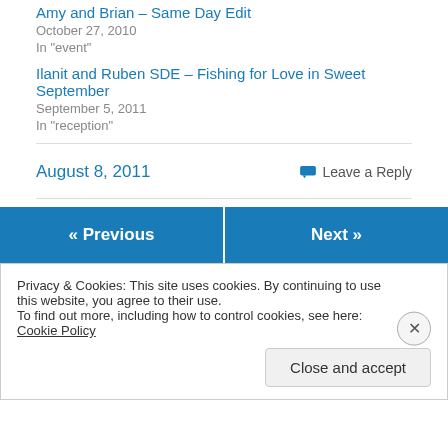Amy and Brian – Same Day Edit
October 27, 2010
In "event"
Ilanit and Ruben SDE – Fishing for Love in Sweet September
September 5, 2011
In "reception"
August 8, 2011
Leave a Reply
« Previous
Next »
Privacy & Cookies: This site uses cookies. By continuing to use this website, you agree to their use.
To find out more, including how to control cookies, see here: Cookie Policy
Close and accept